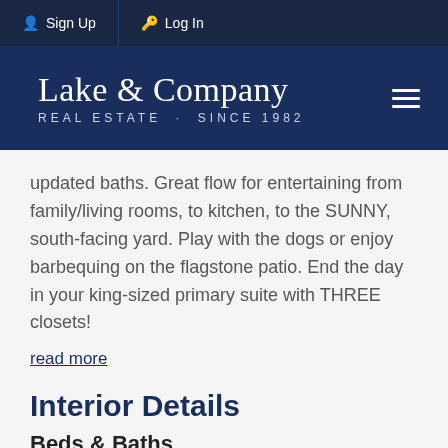Sign Up  Log In
Lake & Company REAL ESTATE · SINCE 1982
updated baths. Great flow for entertaining from family/living rooms, to kitchen, to the SUNNY, south-facing yard. Play with the dogs or enjoy barbequing on the flagstone patio. End the day in your king-sized primary suite with THREE closets!
read more
Interior Details
Beds & Baths
Bedrooms: 3
Bathrooms: 2.5